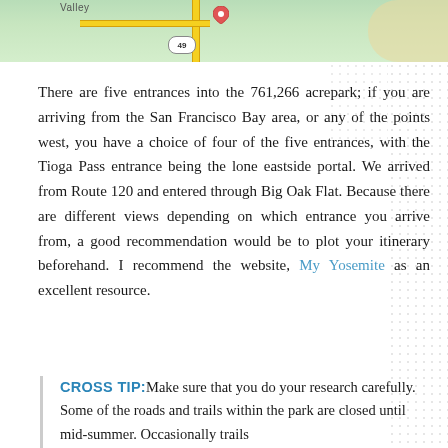[Figure (map): Partial map of Yosemite area showing route 49 badge, a yellow road, and green/tan terrain. 'Valley' label visible at top left.]
There are five entrances into the 761,266 acrepark; if you are arriving from the San Francisco Bay area, or any of the points west, you have a choice of four of the five entrances, with the Tioga Pass entrance being the lone eastside portal. We arrived from Route 120 and entered through Big Oak Flat. Because there are different views depending on which entrance you arrive from, a good recommendation would be to plot your itinerary beforehand. I recommend the website, My Yosemite as an excellent resource.
CROSS TIP: Make sure that you do your research carefully. Some of the roads and trails within the park are closed until mid-summer. Occasionally trails